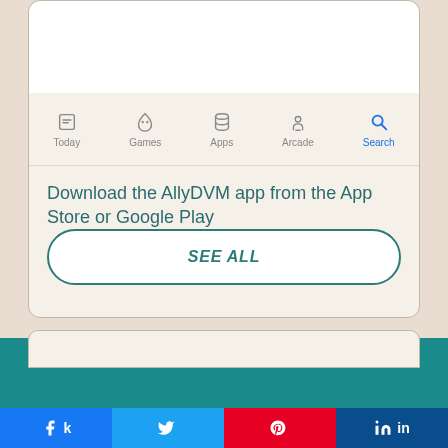[Figure (screenshot): App Store navigation bar showing Today, Games, Apps, Arcade tabs in grey and Search tab highlighted in blue]
Download the AllyDVM app from the App Store or Google Play
SEE ALL
[Figure (screenshot): Bottom of teal-colored webpage with a second card peeking at the bottom]
Facebook share | Twitter share | Pinterest share | LinkedIn share